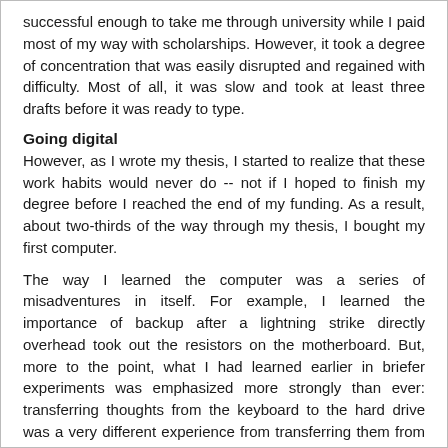successful enough to take me through university while I paid most of my way with scholarships. However, it took a degree of concentration that was easily disrupted and regained with difficulty. Most of all, it was slow and took at least three drafts before it was ready to type.
Going digital
However, as I wrote my thesis, I started to realize that these work habits would never do -- not if I hoped to finish my degree before I reached the end of my funding. As a result, about two-thirds of the way through my thesis, I bought my first computer.
The way I learned the computer was a series of misadventures in itself. For example, I learned the importance of backup after a lightning strike directly overhead took out the resistors on the motherboard. But, more to the point, what I had learned earlier in briefer experiments was emphasized more strongly than ever: transferring thoughts from the keyboard to the hard drive was a very different experience from transferring them from my pen to paper.
For one thing, I was not only using both hands instead of just my left, but the muscles in my fingers were moving differently than when I gripped a pen. Instead of being a constant series of motions, my writing was a series of separate movements as I